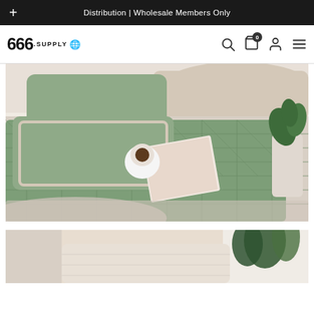Distribution | Wholesale Members Only
[Figure (logo): 666.supply logo with globe icon]
[Figure (photo): Green quilted bedding set with pillows on a bed, with a book and coffee cup on top; plant visible on right side]
[Figure (photo): Partial view of another bedding product in beige/cream tones with green plant accent]